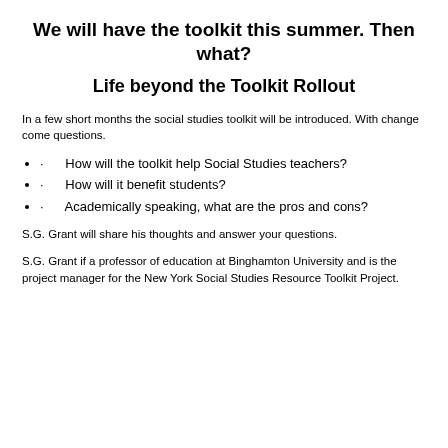We will have the toolkit this summer.  Then what?
Life beyond the Toolkit Rollout
In a few short months the social studies toolkit will be introduced.  With change come questions.
·      How will the toolkit help Social Studies teachers?
·      How will it benefit students?
·      Academically speaking, what are the pros and cons?
S.G. Grant will share his thoughts and answer your questions.
S.G. Grant if a professor of education at Binghamton University and is the project manager for the New York Social Studies Resource Toolkit Project.